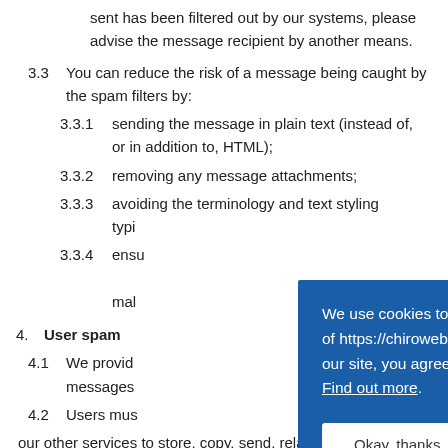sent has been filtered out by our systems, please advise the message recipient by another means.
3.3 You can reduce the risk of a message being caught by the spam filters by:
3.3.1 sending the message in plain text (instead of, or in addition to, HTML);
3.3.2 removing any message attachments;
3.3.3 avoiding the terminology and text styling typi[cally used by spammers;]
3.3.4 ensu[ring your email domain has] mal[formed DNS records.]
4. User spam
4.1 We provid[e tools to allow users to report] messages[.]
4.2 Users mus[t not use our website or] our other services to store, copy, send, relay or
We use cookies to help improve your experience of https://chirowebmd.com. If you continue to use our site, you agree with the usage of our cookies. Find out more.
Okay, thanks